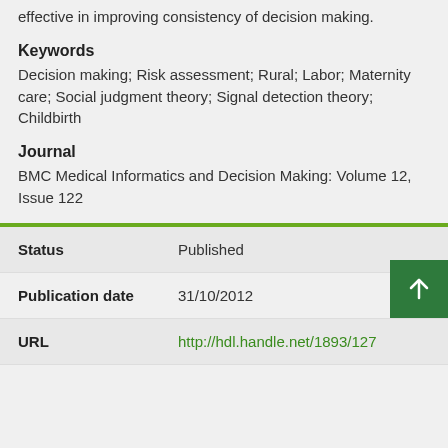effective in improving consistency of decision making.
Keywords
Decision making; Risk assessment; Rural; Labor; Maternity care; Social judgment theory; Signal detection theory; Childbirth
Journal
BMC Medical Informatics and Decision Making: Volume 12, Issue 122
| Field | Value |
| --- | --- |
| Status | Published |
| Publication date | 31/10/2012 |
| URL | http://hdl.handle.net/1893/127... |